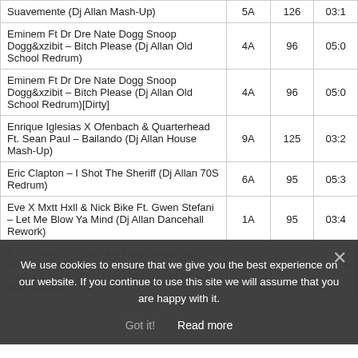| Title | Key | BPM | Time |
| --- | --- | --- | --- |
| Suavemente (Dj Allan Mash-Up) | 5A | 126 | 03:1 |
| Eminem Ft Dr Dre Nate Dogg Snoop Dogg&xzibit – Bitch Please (Dj Allan Old School Redrum) | 4A | 96 | 05:0 |
| Eminem Ft Dr Dre Nate Dogg Snoop Dogg&xzibit – Bitch Please (Dj Allan Old School Redrum)[Dirty] | 4A | 96 | 05:0 |
| Enrique Iglesias X Ofenbach & Quarterhead Ft. Sean Paul – Bailando (Dj Allan House Mash-Up) | 9A | 125 | 03:2 |
| Eric Clapton – I Shot The Sheriff (Dj Allan 70S Redrum) | 6A | 95 | 05:3 |
| Eve X Mxtt Hxll & Nick Bike Ft. Gwen Stefani – Let Me Blow Ya Mind (Dj Allan Dancehall Rework) | 1A | 95 | 03:4 |
| [blurred] After (Dj Allan My Heart Mash-Up) |  |  |  |
| [blurred] Carlos Com Shalice Supa Africa Mad Mukuru (Intro Blend) | 5A | 126 | ... |
We use cookies to ensure that we give you the best experience on our website. If you continue to use this site we will assume that you are happy with it.